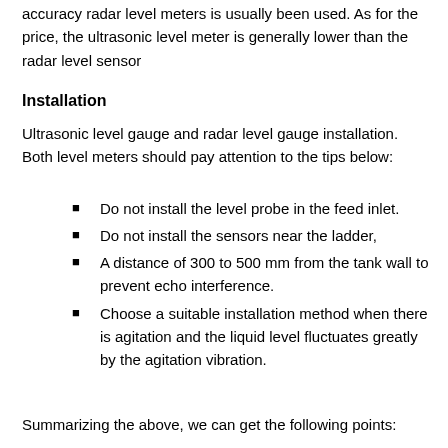accuracy radar level meters is usually been used. As for the price, the ultrasonic level meter is generally lower than the radar level sensor
Installation
Ultrasonic level gauge and radar level gauge installation. Both level meters should pay attention to the tips below:
Do not install the level probe in the feed inlet.
Do not install the sensors near the ladder,
A distance of 300 to 500 mm from the tank wall to prevent echo interference.
Choose a suitable installation method when there is agitation and the liquid level fluctuates greatly by the agitation vibration.
Summarizing the above, we can get the following points: